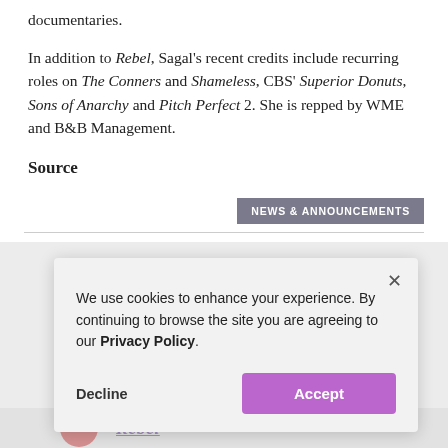documentaries.
In addition to Rebel, Sagal's recent credits include recurring roles on The Conners and Shameless, CBS' Superior Donuts, Sons of Anarchy and Pitch Perfect 2. She is repped by WME and B&B Management.
Source
NEWS & ANNOUNCEMENTS
We use cookies to enhance your experience. By continuing to browse the site you are agreeing to our Privacy Policy.
Decline
Accept